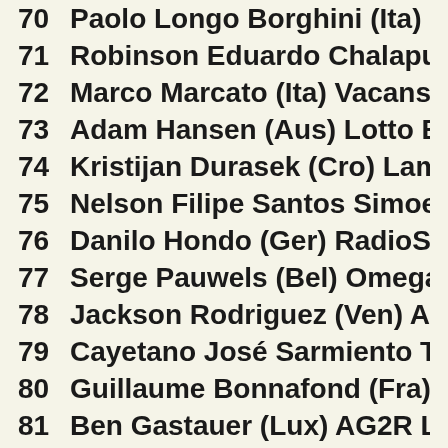70  Paolo Longo Borghini (Ita) Cannondale
71  Robinson Eduardo Chalapud Gomez (C...
72  Marco Marcato (Ita) Vacansoleil-DCM
73  Adam Hansen (Aus) Lotto Belisol
74  Kristijan Durasek (Cro) Lampre-Merida
75  Nelson Filipe Santos Simoes Oliveira (P...
76  Danilo Hondo (Ger) RadioShack Leopa...
77  Serge Pauwels (Bel) Omega Pharma-Q...
78  Jackson Rodriguez (Ven) Androni Gioc...
79  Cayetano José Sarmiento Tunarrosa (C...
80  Guillaume Bonnafond (Fra) AG2R La Me...
81  Ben Gastauer (Lux) AG2R La Mondiale
82  Salvatore Puccio (Ita) Sky Procycling
83  Martijn Keizer (Ned) Vacansoleil-DCM